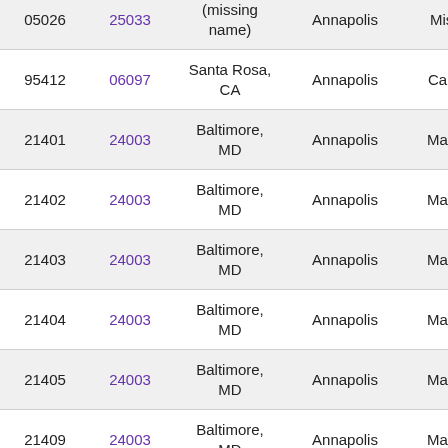| ZIP | FIPS | City | Place Name | State |
| --- | --- | --- | --- | --- |
| 05026 | 25033 | (missing name) | Annapolis | Missou... |
| 95412 | 06097 | Santa Rosa, CA | Annapolis | Californ... |
| 21401 | 24003 | Baltimore, MD | Annapolis | Marylan... |
| 21402 | 24003 | Baltimore, MD | Annapolis | Marylan... |
| 21403 | 24003 | Baltimore, MD | Annapolis | Marylan... |
| 21404 | 24003 | Baltimore, MD | Annapolis | Marylan... |
| 21405 | 24003 | Baltimore, MD | Annapolis | Marylan... |
| 21409 | 24003 | Baltimore, MD | Annapolis | Marylan... |
| 21411 | 24003 | Baltimore, MD | Annapolis | Marylan... |
| 21412 | 24003 | Baltimore, MD | Annapolis | Marylan... |
| 20701 | 24027 | Baltimore, MD | Annapolis Junction | Marylan... |